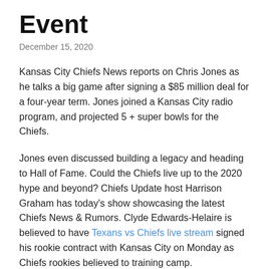Event
December 15, 2020
Kansas City Chiefs News reports on Chris Jones as he talks a big game after signing a $85 million deal for a four-year term. Jones joined a Kansas City radio program, and projected 5 + super bowls for the Chiefs.
Jones even discussed building a legacy and heading to Hall of Fame. Could the Chiefs live up to the 2020 hype and beyond? Chiefs Update host Harrison Graham has today's show showcasing the latest Chiefs News & Rumors. Clyde Edwards-Helaire is believed to have Texans vs Chiefs live stream signed his rookie contract with Kansas City on Monday as Chiefs rookies believed to training camp.
Following his record-breaking 10-year contract extension